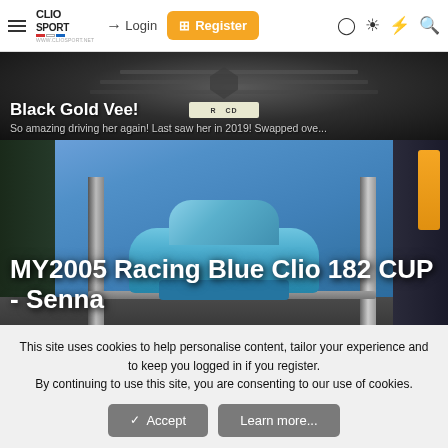ClioSport.net navigation bar with logo, Login, Register, and icon buttons
[Figure (photo): Dark car (Renault Clio) front grille close-up, hero image for 'Black Gold Vee!' post]
Black Gold Vee!
So amazing driving her again! Last saw her in 2019! Swapped ove...
[Figure (photo): Racing Blue Renault Clio 182 CUP on a car lift inside a paint booth with blue tarp backdrop]
MY2005 Racing Blue Clio 182 CUP - Senna
This site uses cookies to help personalise content, tailor your experience and to keep you logged in if you register.
By continuing to use this site, you are consenting to our use of cookies.
Accept   Learn more...